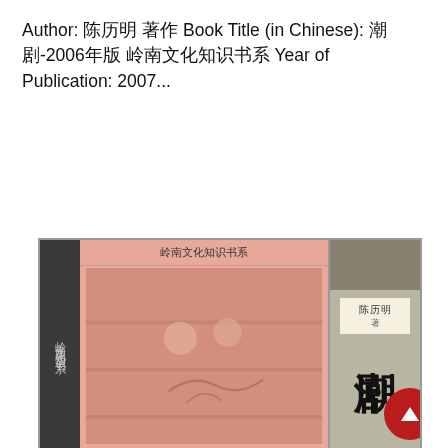Author: 陈历明 著作 Book Title (in Chinese): 潮剧-2006年版 岭南文化知识书系 Year of Publication: 2007...
[Figure (illustration): Red 'Read More' button (pill-shaped, dark red background, white bold text)]
[Figure (photo): Book cover of a Chinese book titled '潮剧' (Chaoqu/Teochew Opera), part of the '岭南文化知识书系' (Lingnan Culture Knowledge Series), authored by 陈历明. The cover has a salmon/pink background with a dark spine on the left, Chinese characters running vertically on the spine, and a right panel showing the title '潮剧' in large characters with author name '陈历明'.]